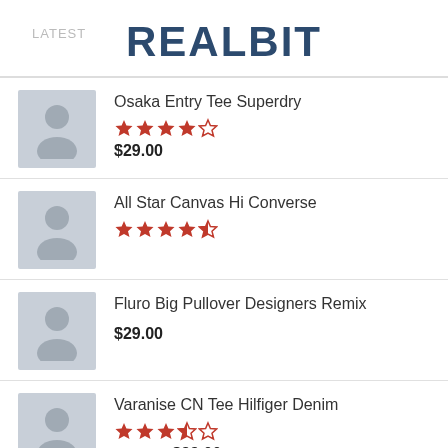LATEST   REALBIT
Osaka Entry Tee Superdry, 4 stars, $29.00
All Star Canvas Hi Converse, 4.5 stars
Fluro Big Pullover Designers Remix, $29.00
Varanise CN Tee Hilfiger Denim, 3.5 stars, $29.00 $29.00
BEST SELLING